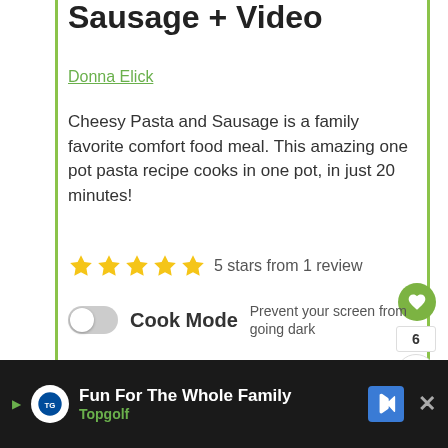Sausage + Video
Donna Elick
Cheesy Pasta and Sausage is a family favorite comfort food meal. This amazing one pot pasta recipe cooks in one pot, in just 20 minutes!
5 stars from 1 review
Cook Mode  Prevent your screen from going dark
Tried this recipe? Please comment and review!
WHAT'S NEXT → One Pot Cheesy...
Fun For The Whole Family Topgolf